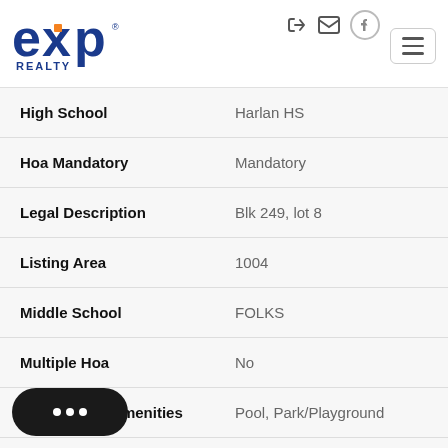eXp Realty
| Field | Value |
| --- | --- |
| High School | Harlan HS |
| Hoa Mandatory | Mandatory |
| Legal Description | Blk 249, lot 8 |
| Listing Area | 1004 |
| Middle School | FOLKS |
| Multiple Hoa | No |
| Neighborhood Amenities | Pool, Park/Playground |